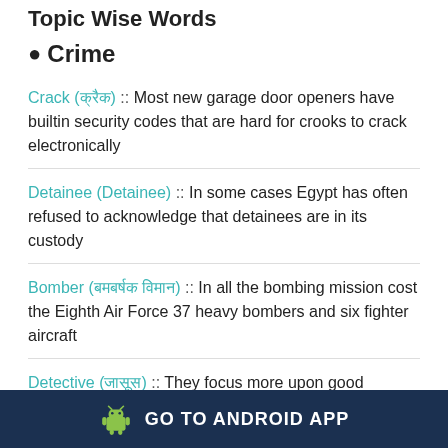Topic Wise Words
Crime
Crack (क्रैक) :: Most new garage door openers have builtin security codes that are hard for crooks to crack electronically
Detainee (Detainee) :: In some cases Egypt has often refused to acknowledge that detainees are in its custody
Bomber (बमबर्षक विमान) :: In all the bombing mission cost the Eighth Air Force 37 heavy bombers and six fighter aircraft
Detective (जासूस) :: They focus more upon good oldfashioned detective work to solve the crime of the week
GO TO ANDROID APP